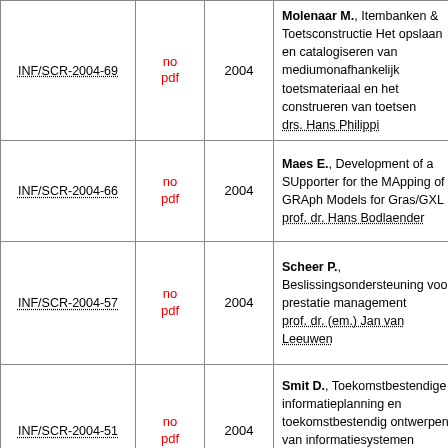| ID | PDF | Year | Description |
| --- | --- | --- | --- |
| INF/SCR-2004-69 | no pdf | 2004 | Molenaar M., Itembanken & Toetsconstructie Het opslaan en catalogiseren van mediumonafhankelijk toetsmateriaal en het construeren van toetsen drs. Hans Philippi |
| INF/SCR-2004-66 | no pdf | 2004 | Maes E., Development of a SUpporter for the MApping of GRAph Models for Gras/GXL prof. dr. Hans Bodlaender |
| INF/SCR-2004-57 | no pdf | 2004 | Scheer P., Beslissingsondersteuning voor prestatie management prof. dr. (em.) Jan van Leeuwen |
| INF/SCR-2004-51 | no pdf | 2004 | Smit D., Toekomstbestendige informatieplanning en toekomstbestendig ontwerpen van informatiesystemen prof. dr. (em.) Jan van Leeuwen |